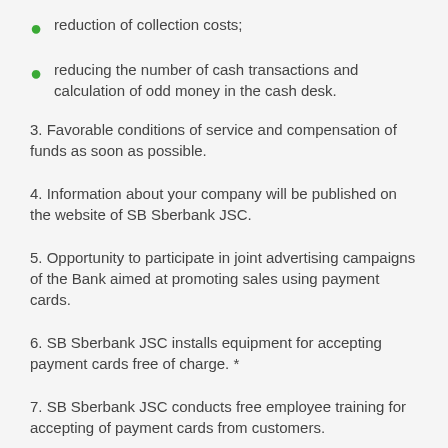reduction of collection costs;
reducing the number of cash transactions and calculation of odd money in the cash desk.
3. Favorable conditions of service and compensation of funds as soon as possible.
4. Information about your company will be published on the website of SB Sberbank JSC.
5. Opportunity to participate in joint advertising campaigns of the Bank aimed at promoting sales using payment cards.
6. SB Sberbank JSC installs equipment for accepting payment cards free of charge. *
7. SB Sberbank JSC conducts free employee training for accepting of payment cards from customers.